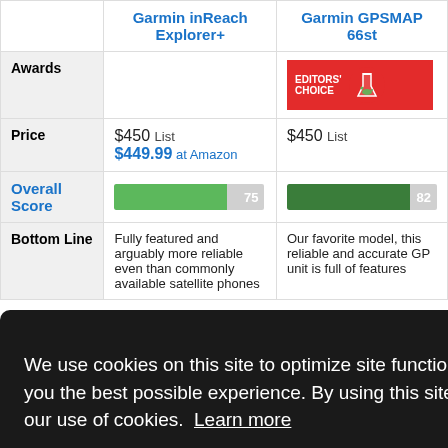|  | Garmin inReach Explorer+ | Garmin GPSMAP 66st |
| --- | --- | --- |
| Awards |  | EDITORS' CHOICE |
| Price | $450 List
$449.99 at Amazon | $450 List |
| Overall Score | 75 | 82 |
| Bottom Line | Fully featured and arguably more reliable even than commonly available satellite phones | Our favorite model, this reliable and accurate GPS unit is full of features |
We use cookies on this site to optimize site functionality and give you the best possible experience. By using this site, you accept our use of cookies. Learn more
Got it!
MAP 66st
8.0
7.0
9.0